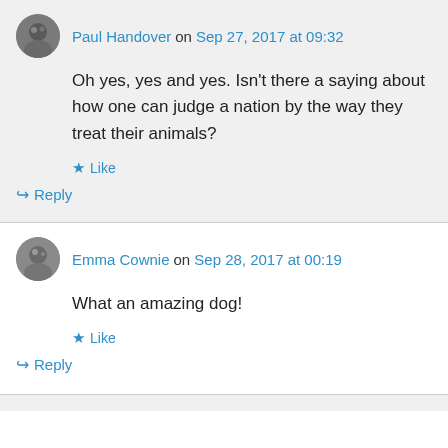Paul Handover on Sep 27, 2017 at 09:32
Oh yes, yes and yes. Isn't there a saying about how one can judge a nation by the way they treat their animals?
Like
Reply
Emma Cownie on Sep 28, 2017 at 00:19
What an amazing dog!
Like
Reply